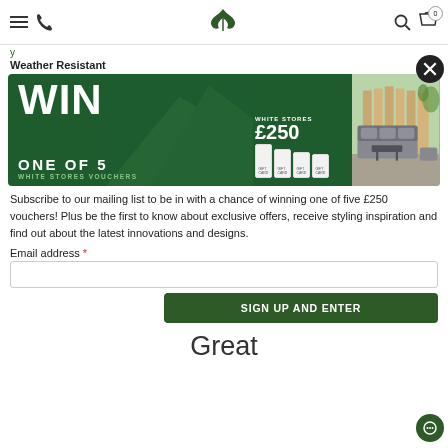Navigation bar with menu, phone, logo, search, basket icons
Weather Resistant
[Figure (infographic): Green promotional banner: WIN ONE OF 5 WHITE STORES VOUCHERS, WHITE STORES £250, gift card images, outdoor garden furniture photo on right side]
Subscribe to our mailing list to be in with a chance of winning one of five £250 vouchers! Plus be the first to know about exclusive offers, receive styling inspiration and find out about the latest innovations and designs.
Email address *
SIGN UP AND ENTER
Great